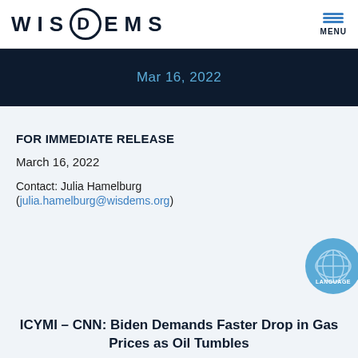WISDEMS | MENU
Mar 16, 2022
FOR IMMEDIATE RELEASE
March 16, 2022
Contact: Julia Hamelburg
(julia.hamelburg@wisdems.org)
ICYMI – CNN: Biden Demands Faster Drop in Gas Prices as Oil Tumbles